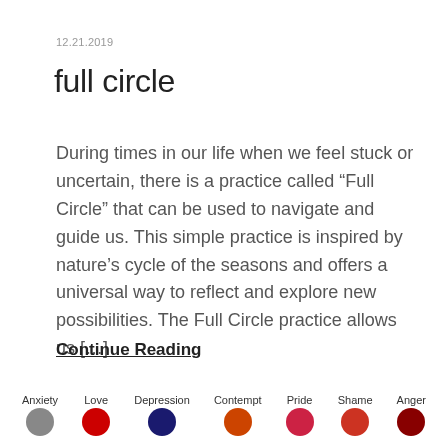12.21.2019
full circle
During times in our life when we feel stuck or uncertain, there is a practice called “Full Circle” that can be used to navigate and guide us. This simple practice is inspired by nature’s cycle of the seasons and offers a universal way to reflect and explore new possibilities. The Full Circle practice allows us […]
Continue Reading
Anxiety Love Depression Contempt Pride Shame Anger